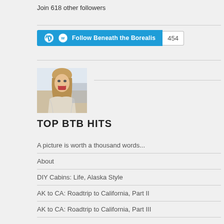Join 618 other followers
[Figure (other): WordPress Follow Beneath the Borealis button with 454 follower count badge]
[Figure (photo): Profile photo of a smiling woman with blonde hair wearing a light-colored fur jacket, outdoors in a snowy setting]
TOP BTB HITS
A picture is worth a thousand words...
About
DIY Cabins: Life, Alaska Style
AK to CA: Roadtrip to California, Part II
AK to CA: Roadtrip to California, Part III